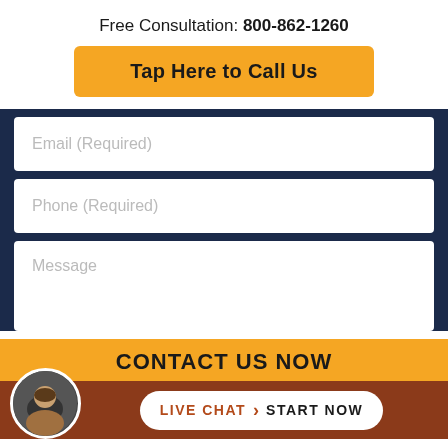Free Consultation: 800-862-1260
Tap Here to Call Us
Email (Required)
Phone (Required)
Message
CONTACT US NOW
LIVE CHAT › START NOW